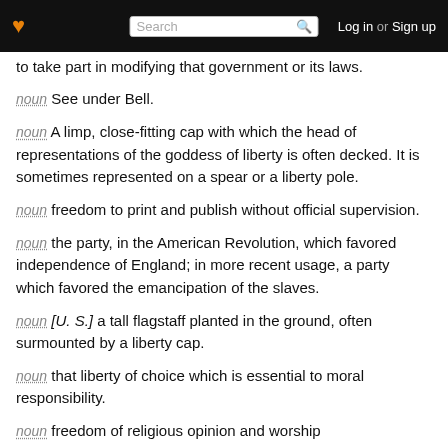Search | Log in or Sign up
to take part in modifying that government or its laws.
noun See under Bell.
noun A limp, close-fitting cap with which the head of representations of the goddess of liberty is often decked. It is sometimes represented on a spear or a liberty pole.
noun freedom to print and publish without official supervision.
noun the party, in the American Revolution, which favored independence of England; in more recent usage, a party which favored the emancipation of the slaves.
noun [U. S.] a tall flagstaff planted in the ground, often surmounted by a liberty cap.
noun that liberty of choice which is essential to moral responsibility.
noun freedom of religious opinion and worship